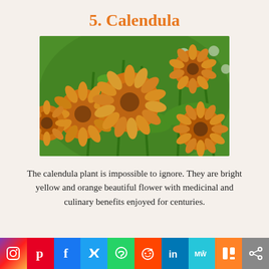5. Calendula
[Figure (photo): Orange and yellow calendula flowers blooming among green stems and leaves outdoors]
The calendula plant is impossible to ignore. They are bright yellow and orange beautiful flower with medicinal and culinary benefits enjoyed for centuries.
[Figure (infographic): Social media icon bar: Instagram, Pinterest, Facebook, Twitter, WhatsApp, Reddit, LinkedIn, MeWe, Mix, Share]